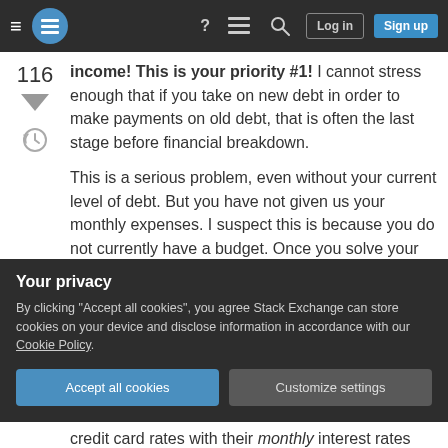Stack Exchange navigation bar with Log in and Sign up buttons
income! This is your priority #1! I cannot stress enough that if you take on new debt in order to make payments on old debt, that is often the last stage before financial breakdown.
This is a serious problem, even without your current level of debt. But you have not given us your monthly expenses. I suspect this is because you do not currently have a budget. Once you solve your budgeting problem, only then can you start to address your current debt problem. Otherwise, you will have the same debt problem next year, and the
Your privacy
By clicking "Accept all cookies", you agree Stack Exchange can store cookies on your device and disclose information in accordance with our Cookie Policy.
credit card rates with their monthly interest rates